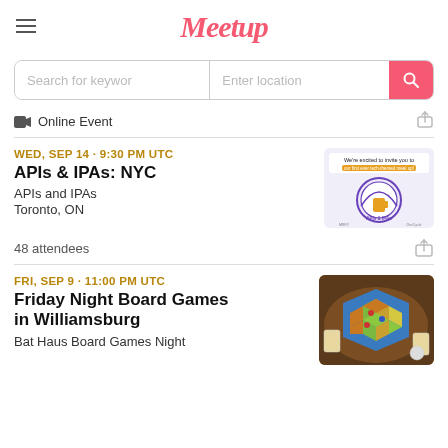Meetup
Search for keywords | Enter location
Online Event
WED, SEP 14 · 9:30 PM UTC
APIs & IPAs: NYC
APIs and IPAs
Toronto, ON
[Figure (illustration): APIs & IPAs event flyer with circular purple logo and text 'We're excited to invite you to our first ever tech-themed meet up!']
48 attendees
FRI, SEP 9 · 11:00 PM UTC
Friday Night Board Games in Williamsburg
Bat Haus Board Games Night
[Figure (photo): Aerial photo of a Catan board game being played on a wooden table]